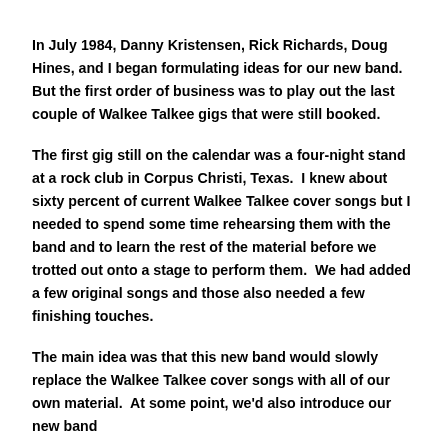In July 1984, Danny Kristensen, Rick Richards, Doug Hines, and I began formulating ideas for our new band. But the first order of business was to play out the last couple of Walkee Talkee gigs that were still booked.
The first gig still on the calendar was a four-night stand at a rock club in Corpus Christi, Texas.  I knew about sixty percent of current Walkee Talkee cover songs but I needed to spend some time rehearsing them with the band and to learn the rest of the material before we trotted out onto a stage to perform them.  We had added a few original songs and those also needed a few finishing touches.
The main idea was that this new band would slowly replace the Walkee Talkee cover songs with all of our own material.  At some point, we'd also introduce our new band